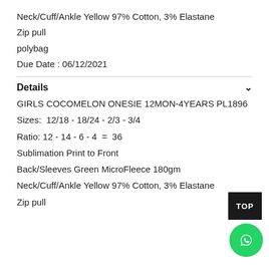Neck/Cuff/Ankle Yellow 97% Cotton, 3% Elastane
Zip pull
polybag
Due Date : 06/12/2021
Details
GIRLS COCOMELON ONESIE 12MON-4YEARS PL1896
Sizes:  12/18 - 18/24 - 2/3 - 3/4
Ratio: 12 - 14 - 6 - 4  =  36
Sublimation Print to Front
Back/Sleeves Green MicroFleece 180gm
Neck/Cuff/Ankle Yellow 97% Cotton, 3% Elastane
Zip pull